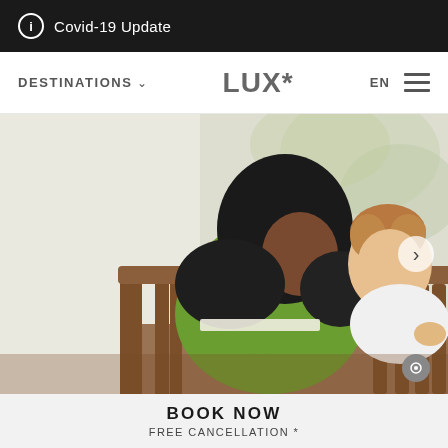ⓘ Covid-19 Update
DESTINATIONS ∨   LUX*   EN  ☰
[Figure (photo): A woman wearing a black hijab and green long-sleeve top sits at a wooden table with a young child with curly red hair, both looking at something on the table. Blurred outdoor background.]
BOOK NOW
FREE CANCELLATION *